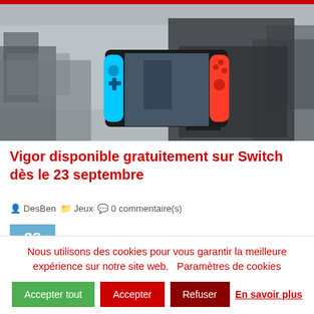[Figure (screenshot): Hero image showing a person in tactical gear holding a Nintendo Switch console displaying a game (Vigor), set against a foggy forest/mountain background.]
Vigor disponible gratuitement sur Switch dès le 23 septembre
DesBen   Jeux   0 commentaire(s)
28
Août
Nous utilisons des cookies pour vous garantir la meilleure expérience sur notre site web.   Paramètres de cookies
Accepter tout   Accepter   Refuser   En savoir plus